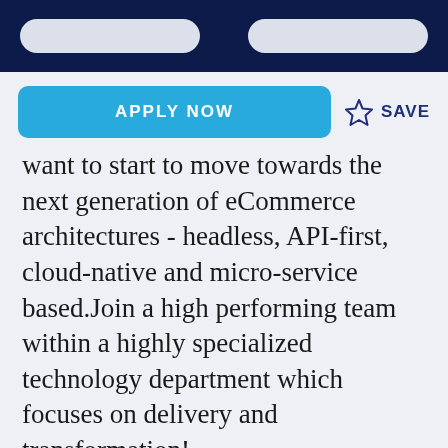APPLY NOW
SAVE
want to start to move towards the next generation of eCommerce architectures - headless, API-first, cloud-native and micro-service based.Join a high performing team within a highly specialized technology department which focuses on delivery and transformation!
Qualifications
The right person will be a high performing full-stack engineer with experienceon complex applications. They will contribute